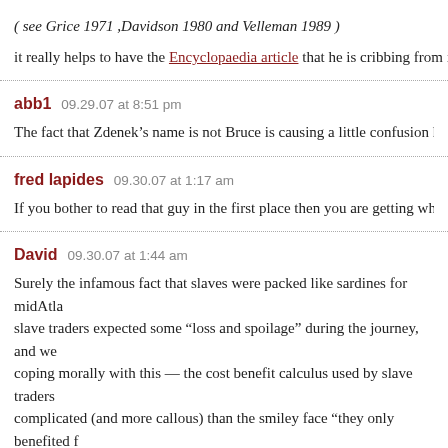( see Grice 1971 ,Davidson 1980 and Velleman 1989 )
it really helps to have the Encyclopaedia article that he is cribbing from in
abb1   09.29.07 at 8:51 pm
The fact that Zdenek’s name is not Bruce is causing a little confusion here.
fred lapides   09.30.07 at 1:17 am
If you bother to read that guy in the first place then you are getting what yo
David   09.30.07 at 1:44 am
Surely the infamous fact that slaves were packed like sardines for midAtla
slave traders expected some “loss and spoilage” during the journey, and we
coping morally with this — the cost benefit calculus used by slave traders
complicated (and more callous) than the smiley face “they only benefited f